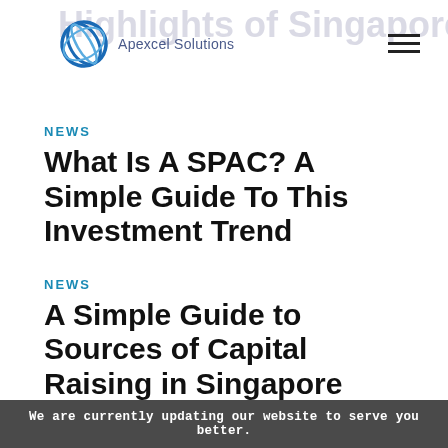Highlights of Singapore Budget 2021 | Apexcel Solutions
NEWS
What Is A SPAC? A Simple Guide To This Investment Trend
NEWS
A Simple Guide to Sources of Capital Raising in Singapore
We are currently updating our website to serve you better.